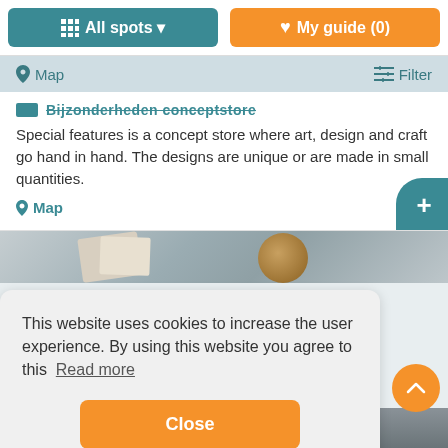All spots  |  My guide (0)
Map   Filter
Bijzonderheden conceptstore
Special features is a concept store where art, design and craft go hand in hand. The designs are unique or are made in small quantities.
Map
[Figure (photo): Partial photo of items on a surface, partially obscured]
This website uses cookies to increase the user experience. By using this website you agree to this  Read more
Close
[Figure (photo): Bottom photo strip showing pillows/bed area]